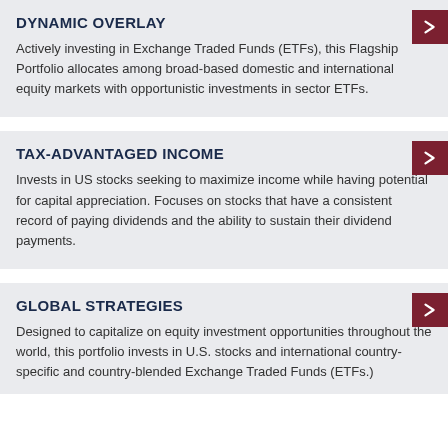DYNAMIC OVERLAY
Actively investing in Exchange Traded Funds (ETFs), this Flagship Portfolio allocates among broad-based domestic and international equity markets with opportunistic investments in sector ETFs.
TAX-ADVANTAGED INCOME
Invests in US stocks seeking to maximize income while having potential for capital appreciation. Focuses on stocks that have a consistent record of paying dividends and the ability to sustain their dividend payments.
GLOBAL STRATEGIES
Designed to capitalize on equity investment opportunities throughout the world, this portfolio invests in U.S. stocks and international country-specific and country-blended Exchange Traded Funds (ETFs.)